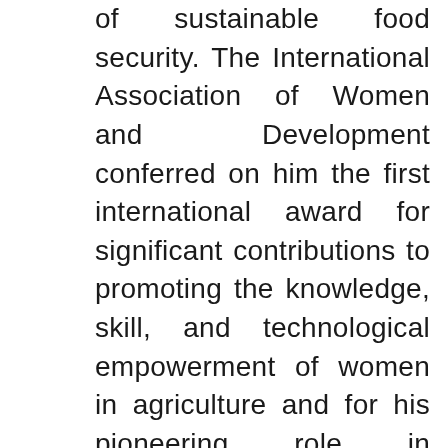of sustainable food security. The International Association of Women and Development conferred on him the first international award for significant contributions to promoting the knowledge, skill, and technological empowerment of women in agriculture and for his pioneering role in mainstreaming gender considerations in agriculture and rural development. Professor Swaminathan was awarded the Ramon Magsaysay Award for Community Leadership in 1971, the Albert Einstein World Science Award in 1986, the first World Food Prize in 1987, and Volvo, Tyler and UNEP Sasakawa Prize for Environment, the